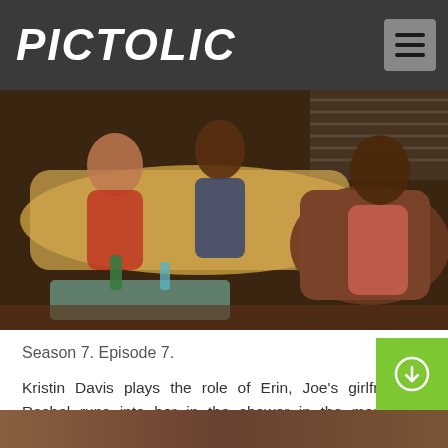PICTOLIC
[Figure (photo): TV show scene with people sitting on couches in a living room set]
Season 7. Episode 7.
Kristin Davis plays the role of Erin, Joe's girlfriend. Rachel runs into her in the shower in the morning. Rachel, Phoebe and Erin get to know each other better, and the girls decide that Erin is perfect for Joe. Soon Joe begins to think so himself. But Erin ends their relationship. One of the few episodes in which Joe has deep feelings for a girl.